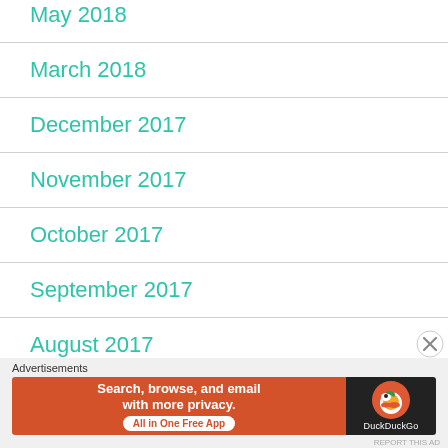May 2018
March 2018
December 2017
November 2017
October 2017
September 2017
August 2017
[Figure (other): DuckDuckGo advertisement banner: Search, browse, and email with more privacy. All in One Free App. DuckDuckGo.]